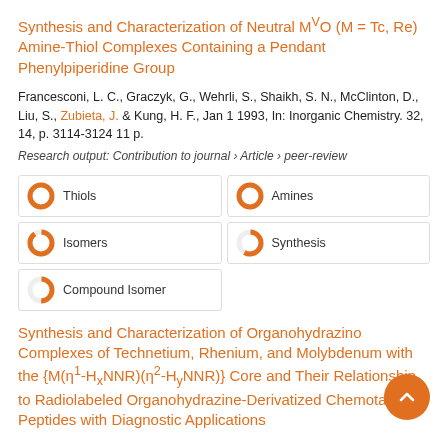Synthesis and Characterization of Neutral MVO (M = Tc, Re) Amine-Thiol Complexes Containing a Pendant Phenylpiperidine Group
Francesconi, L. C., Graczyk, G., Wehrli, S., Shaikh, S. N., McClinton, D., Liu, S., Zubieta, J. & Kung, H. F., Jan 1 1993, In: Inorganic Chemistry. 32, 14, p. 3114-3124 11 p.
Research output: Contribution to journal › Article › peer-review
Thiols
Amines
Isomers
Synthesis
Compound Isomer
Synthesis and Characterization of Organohydrazino Complexes of Technetium, Rhenium, and Molybdenum with the {M(η1-HxNNR)(η2-HyNNR)} Core and Their Relationship to Radiolabeled Organohydrazine-Derivatized Chemotactic Peptides with Diagnostic Applications